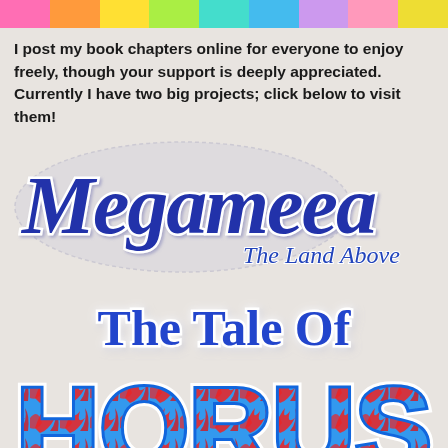[Figure (illustration): Rainbow horizontal stripe bar with colors: pink, orange, yellow, lime green, cyan/teal, light blue, lavender, pink/rose, yellow]
I post my book chapters online for everyone to enjoy freely, though your support is deeply appreciated. Currently I have two big projects; click below to visit them!
[Figure (logo): Megameea - The Land Above logo in ornate blue gothic/blackletter style with white outline and dotted border]
[Figure (logo): The Tale Of Horus logo - 'The Tale Of' in blue blackletter style, 'HORUS' in large blue letters with red flame/claw pattern fill]